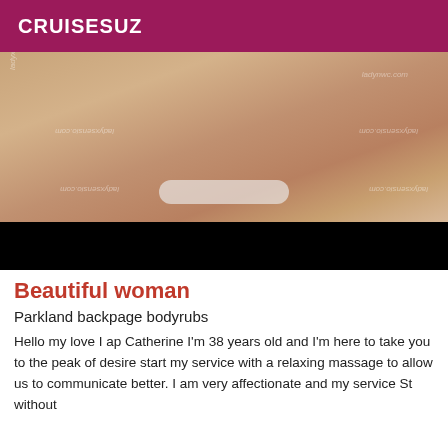CRUISESUZ
[Figure (photo): Cropped photo of a woman's midsection wearing white lace underwear, lying on a bed. Multiple watermarks reading 'ladyxsensio.com' visible across the image. Lower portion of image covered by a black bar.]
Beautiful woman
Parkland backpage bodyrubs
Hello my love I ap Catherine I'm 38 years old and I'm here to take you to the peak of desire start my service with a relaxing massage to allow us to communicate better. I am very affectionate and my service St without